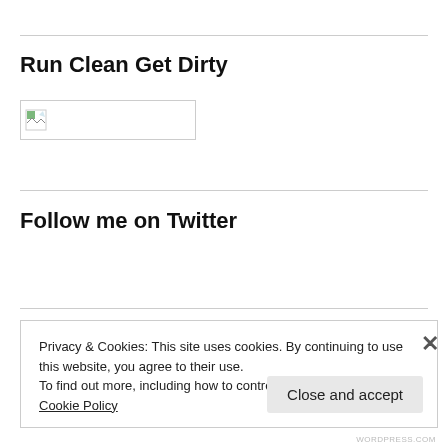Run Clean Get Dirty
[Figure (illustration): Broken image placeholder with small icon on white background with border]
Follow me on Twitter
My Tweets
Privacy & Cookies: This site uses cookies. By continuing to use this website, you agree to their use.
To find out more, including how to control cookies, see here: Cookie Policy
Close and accept